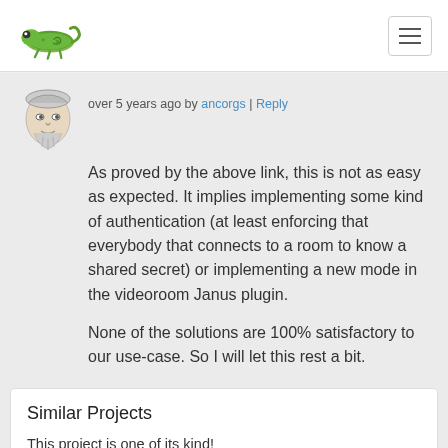over 5 years ago by ancorgs | Reply
As proved by the above link, this is not as easy as expected. It implies implementing some kind of authentication (at least enforcing that everybody that connects to a room to know a shared secret) or implementing a new mode in the videoroom Janus plugin.

None of the solutions are 100% satisfactory to our use-case. So I will let this rest a bit.
Similar Projects
This project is one of its kind!